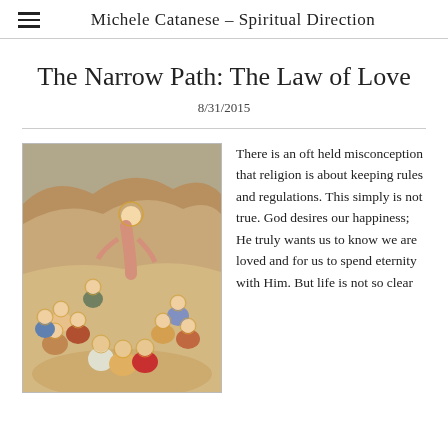Michele Catanese – Spiritual Direction
The Narrow Path: The Law of Love
8/31/2015
[Figure (illustration): Renaissance-style fresco painting showing Jesus seated on a hillside teaching a group of disciples seated around him, all with halos, in warm golden-brown tones.]
There is an oft held misconception that religion is about keeping rules and regulations. This simply is not true. God desires our happiness; He truly wants us to know we are loved and for us to spend eternity with Him. But life is not so clear